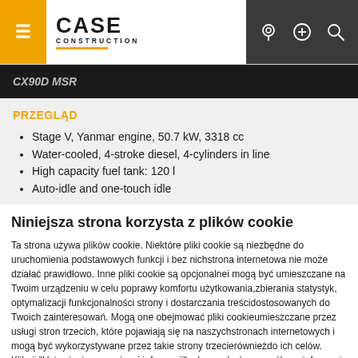CASE CONSTRUCTION — CX90D MSR
PRZEGLĄD
Stage V, Yanmar engine, 50.7 kW, 3318 cc
Water-cooled, 4-stroke diesel, 4-cylinders in line
High capacity fuel tank: 120 l
Auto-idle and one-touch idle
Niniejsza strona korzysta z plików cookie
Ta strona używa plików cookie. Niektóre pliki cookie są niezbędne do uruchomienia podstawowych funkcji i bez nichstrona internetowa nie może działać prawidłowo. Inne pliki cookie są opcjonalnei mogą być umieszczane na Twoim urządzeniu w celu poprawy komfortu użytkowania,zbierania statystyk, optymalizacji funkcjonalności strony i dostarczania treścidostosowanych do Twoich zainteresowań. Mogą one obejmować pliki cookieumieszczane przez usługi stron trzecich, które pojawiają się na naszychstronach internetowych i mogą być wykorzystywane przez takie strony trzecierównieżdo ich celów. Kliknij "Ustawienia oraz więcej informacji", abyuzyskać szczegółowe informacje o tym, jakie pliki cookie są umieszczane naTwoim urządzeniu i jak są one wykorzystywane.
Jeśli akceptujesz wszystkie opcjonalne pliki cookie, kliknij na "Przejdź dalej"